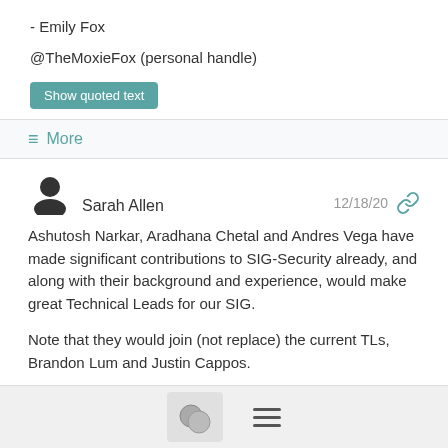- Emily Fox
@TheMoxieFox (personal handle)
Show quoted text
≡ More
Sarah Allen  12/18/20
Ashutosh Narkar, Aradhana Chetal and Andres Vega have made significant contributions to SIG-Security already, and along with their background and experience, would make great Technical Leads for our SIG.
Note that they would join (not replace) the current TLs, Brandon Lum and Justin Cappos.